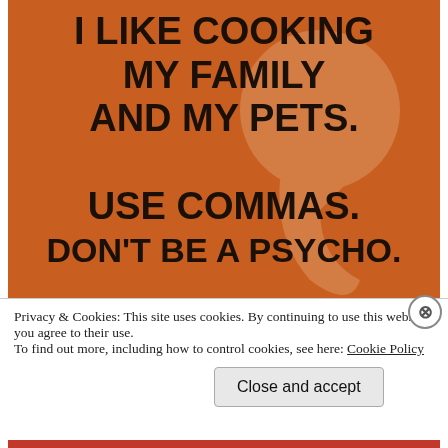[Figure (illustration): Orange textured background with a large faint comma watermark. Bold black text reads: I LIKE COOKING MY FAMILY AND MY PETS. USE COMMAS. DON'T BE A PSYCHO.]
Privacy & Cookies: This site uses cookies. By continuing to use this website, you agree to their use.
To find out more, including how to control cookies, see here: Cookie Policy
Close and accept